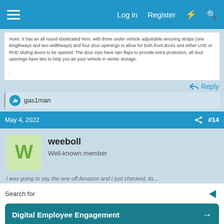Log in  Register
more. It has an all round elasticated hem, with three under vehicle adjustable securing straps (one lengthways and two widthways) and four door openings to allow for both front doors and either LHD or RHD sliding doors to be opened. The door zips have rain flaps to provide extra protection, all door openings have ties to help you air your vehicle in winter storage.
Reply
gas1man
May 4, 2022  #14
weeboll
Well-known member
I was going to say the one off Amazon and I just checked, its...
Search for
Digital Employee Engagement
Affordable Glasses Online
Yahoo! Search | Sponsored